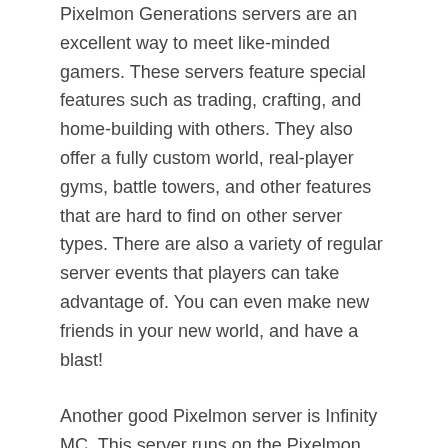Pixelmon Generations servers are an excellent way to meet like-minded gamers. These servers feature special features such as trading, crafting, and home-building with others. They also offer a fully custom world, real-player gyms, battle towers, and other features that are hard to find on other server types. There are also a variety of regular server events that players can take advantage of. You can even make new friends in your new world, and have a blast!
Another good Pixelmon server is Infinity MC. This server runs on the Pixelmon Reforged mod and is 100% uptime. This server is known for its low lag, and offers a variety of features. Infinity MC also has custom side packs that increase the excitement and lure more Pokemon. The site also features a wondertrade system that can help you level up faster and get better at collecting shiny pokemon. If you're looking for a pixelmon server, check out Infinity MC. You'll be glad you did. To learn more website